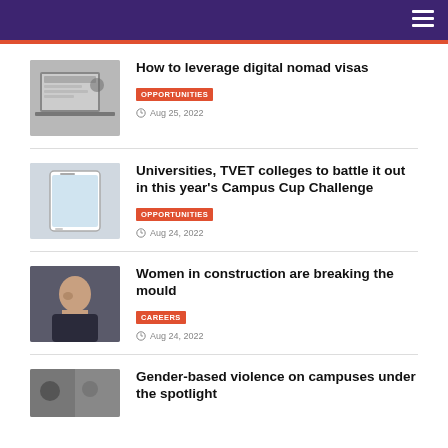How to leverage digital nomad visas
OPPORTUNITIES
Aug 25, 2022
Universities, TVET colleges to battle it out in this year's Campus Cup Challenge
OPPORTUNITIES
Aug 24, 2022
Women in construction are breaking the mould
CAREERS
Aug 24, 2022
Gender-based violence on campuses under the spotlight